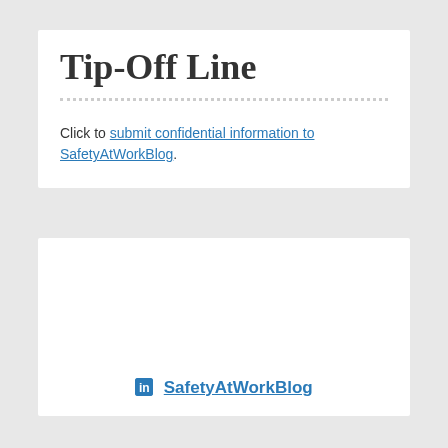Tip-Off Line
Click to submit confidential information to SafetyAtWorkBlog.
SafetyAtWorkBlog